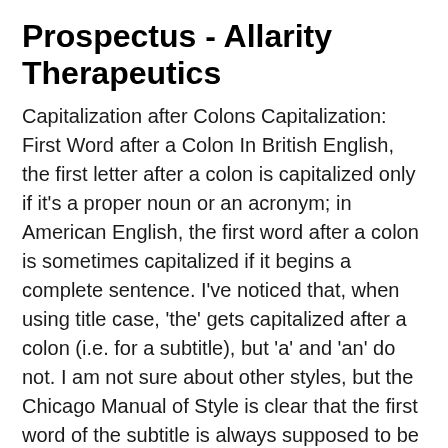Prospectus - Allarity Therapeutics
Capitalization after Colons Capitalization: First Word after a Colon In British English, the first letter after a colon is capitalized only if it's a proper noun or an acronym; in American English, the first word after a colon is sometimes capitalized if it begins a complete sentence. I've noticed that, when using title case, 'the' gets capitalized after a colon (i.e. for a subtitle), but 'a' and 'an' do not. I am not sure about other styles, but the Chicago Manual of Style is clear that the first word of the subtitle is always supposed to be capitalized (see 8.163 for a specific example with 'a').